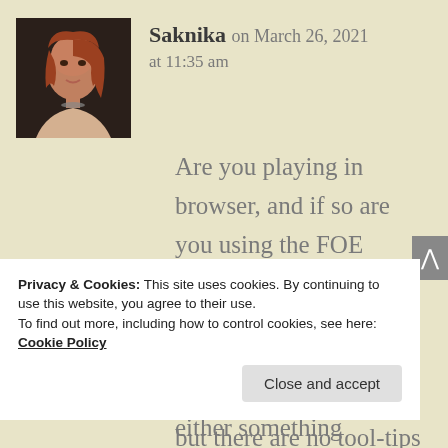[Figure (photo): Profile photo of user Saknika showing a woman with reddish hair and jewelry against a dark background]
Saknika on March 26, 2021
at 11:35 am
Are you playing in browser, and if so are you using the FOE Helper add-on? I only ask because presently that's the single place I see the icon in question, but there are no tool-tips with this
Privacy & Cookies: This site uses cookies. By continuing to use this website, you agree to their use.
To find out more, including how to control cookies, see here: Cookie Policy
Close and accept
either something